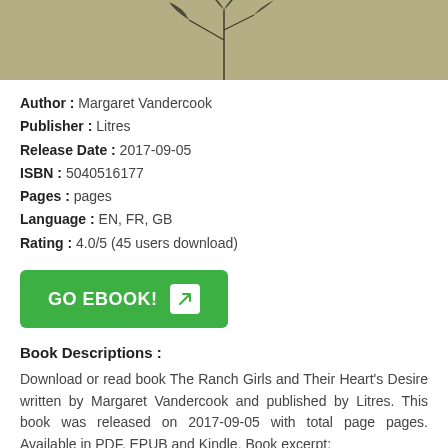[Figure (illustration): Book cover image showing a plant/bamboo illustration on a tan/khaki background]
Author : Margaret Vandercook
Publisher : Litres
Release Date : 2017-09-05
ISBN : 5040516177
Pages : pages
Language : EN, FR, GB
Rating : 4.0/5 (45 users download)
[Figure (other): Green GO EBOOK! button with arrow icon]
Book Descriptions :
Download or read book The Ranch Girls and Their Heart's Desire written by Margaret Vandercook and published by Litres. This book was released on 2017-09-05 with total page pages. Available in PDF, EPUB and Kindle. Book excerpt: